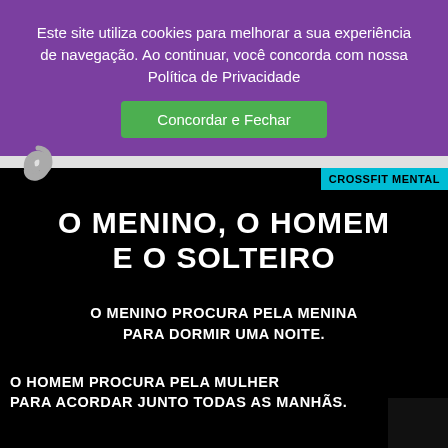Este site utiliza cookies para melhorar a sua experiência de navegação. Ao continuar, você concorda com nossa Política de Privacidade
Concordar e Fechar
CROSSFIT MENTAL
O MENINO, O HOMEM E O SOLTEIRO
O MENINO PROCURA PELA MENINA PARA DORMIR UMA NOITE.
O HOMEM PROCURA PELA MULHER PARA ACORDAR JUNTO TODAS AS MANHÃS.